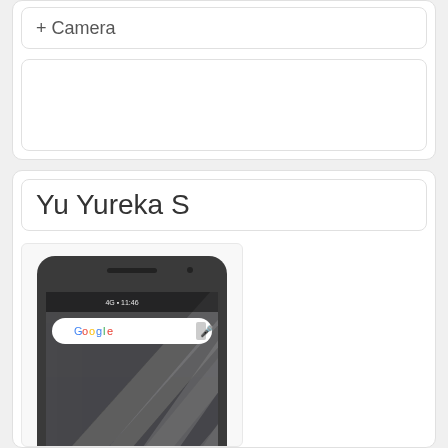+ Camera
Yu Yureka S
[Figure (photo): Yu Yureka S smartphone showing Android home screen with Google search bar and diagonal abstract wallpaper]